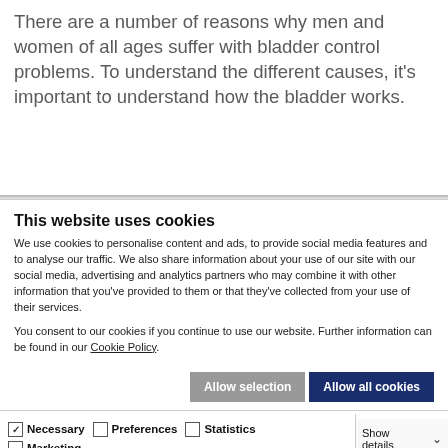There are a number of reasons why men and women of all ages suffer with bladder control problems. To understand the different causes, it's important to understand how the bladder works.
This website uses cookies
We use cookies to personalise content and ads, to provide social media features and to analyse our traffic. We also share information about your use of our site with our social media, advertising and analytics partners who may combine it with other information that you've provided to them or that they've collected from your use of their services.
You consent to our cookies if you continue to use our website. Further information can be found in our Cookie Policy.